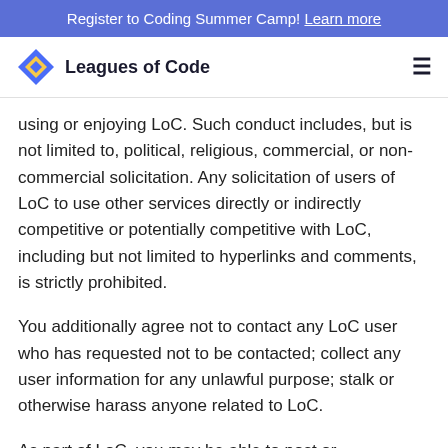Register to Coding Summer Camp! Learn more
Leagues of Code
using or enjoying LoC. Such conduct includes, but is not limited to, political, religious, commercial, or non-commercial solicitation. Any solicitation of users of LoC to use other services directly or indirectly competitive or potentially competitive with LoC, including but not limited to hyperlinks and comments, is strictly prohibited.
You additionally agree not to contact any LoC user who has requested not to be contacted; collect any user information for any unlawful purpose; stalk or otherwise harass anyone related to LoC.
As part of LoC, you may be able to post or